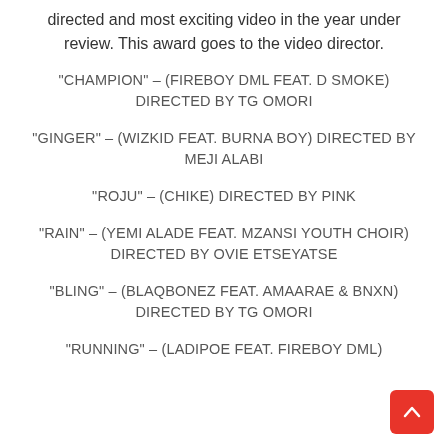directed and most exciting video in the year under review. This award goes to the video director.
“CHAMPION” – (FIREBOY DML FEAT. D SMOKE) DIRECTED BY TG OMORI
“GINGER” – (WIZKID FEAT. BURNA BOY) DIRECTED BY MEJI ALABI
“ROJU” – (CHIKE) DIRECTED BY PINK
“RAIN” – (YEMI ALADE FEAT. MZANSI YOUTH CHOIR) DIRECTED BY OVIE ETSEYATSE
“BLING” – (BLAQBONEZ FEAT. AMAARAE & BNXN) DIRECTED BY TG OMORI
“RUNNING” – (LADIPOE FEAT. FIREBOY DML)